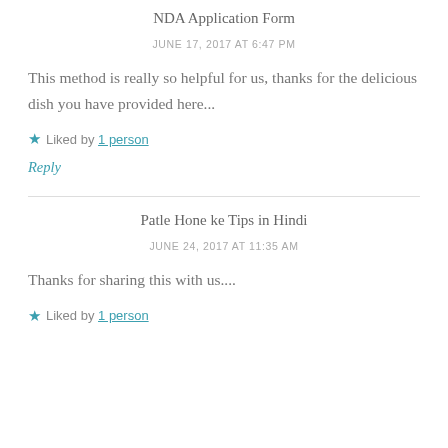NDA Application Form
JUNE 17, 2017 AT 6:47 PM
This method is really so helpful for us, thanks for the delicious dish you have provided here...
★ Liked by 1 person
Reply
Patle Hone ke Tips in Hindi
JUNE 24, 2017 AT 11:35 AM
Thanks for sharing this with us....
★ Liked by 1 person